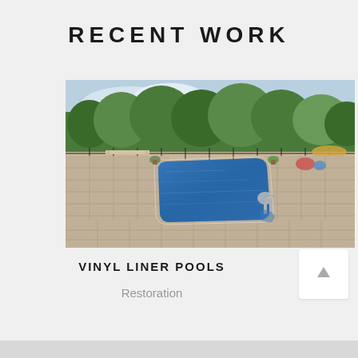RECENT WORK
[Figure (photo): Outdoor vinyl liner swimming pool with blue water, surrounded by paver stone decking, metal pool handrails, pergola structure, outdoor fireplace area, and trees in background behind black iron fence]
VINYL LINER POOLS
Restoration